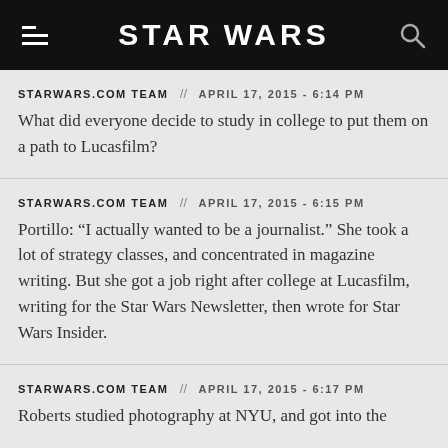STAR WARS
STARWARS.COM TEAM // APRIL 17, 2015 - 6:14 PM
What did everyone decide to study in college to put them on a path to Lucasfilm?
STARWARS.COM TEAM // APRIL 17, 2015 - 6:15 PM
Portillo: “I actually wanted to be a journalist.” She took a lot of strategy classes, and concentrated in magazine writing. But she got a job right after college at Lucasfilm, writing for the Star Wars Newsletter, then wrote for Star Wars Insider.
STARWARS.COM TEAM // APRIL 17, 2015 - 6:17 PM
Roberts studied photography at NYU, and got into the